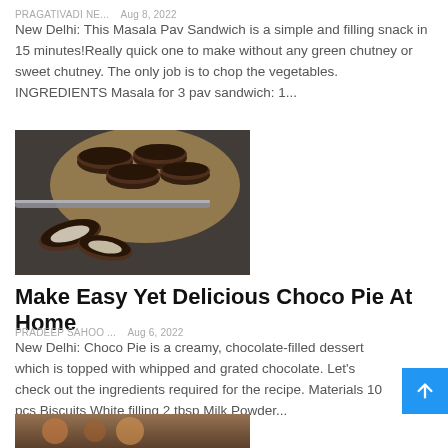PRAGATIVADI NE...   Aug 8, 2022
New Delhi: This Masala Pav Sandwich is a simple and filling snack in 15 minutes!Really quick one to make without any green chutney or sweet chutney. The only job is to chop the vegetables. INGREDIENTS Masala for 3 pav sandwich: 1...
[Figure (photo): Chocolate-coated biscuit/cookie sandwiches (choco pies) on a wooden board and dark surface, with one broken open showing cream filling]
Make Easy Yet Delicious Choco Pie At Home
PRADEEP SAHOO ...   Aug 6, 2022
New Delhi: Choco Pie is a creamy, chocolate-filled dessert which is topped with whipped and grated chocolate. Let's check out the ingredients required for the recipe. Materials 10 pcs Biscuits White filling 2 tbsp Milk Powder...
[Figure (photo): Partial view of another food photo at the bottom of the page]